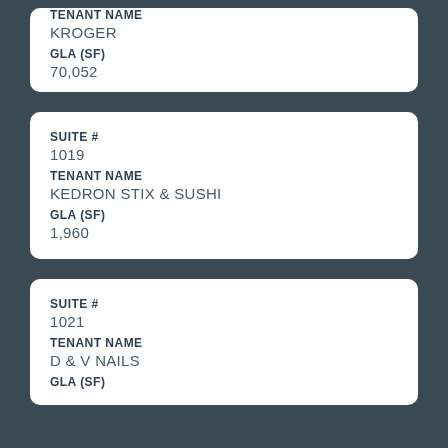TENANT NAME: KROGER
GLA (SF): 70,052
SUITE #: 1019
TENANT NAME: KEDRON STIX & SUSHI
GLA (SF): 1,960
SUITE #: 1021
TENANT NAME: D & V NAILS
GLA (SF): (partial)